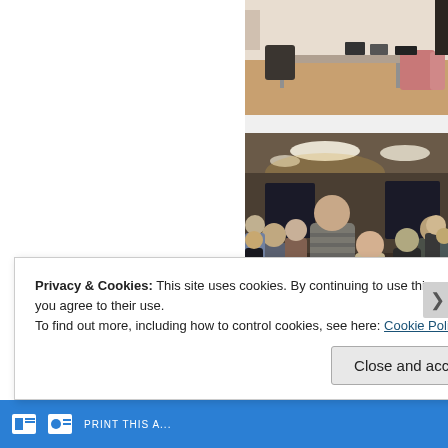[Figure (photo): Indoor conference room with chairs, tables and equipment set up, pink/red chairs visible]
[Figure (photo): Indoor gathering with a crowd of children and adults in a hall with ceiling lights]
Privacy & Cookies: This site uses cookies. By continuing to use this website, you agree to their use.
To find out more, including how to control cookies, see here: Cookie Policy
Close and accept